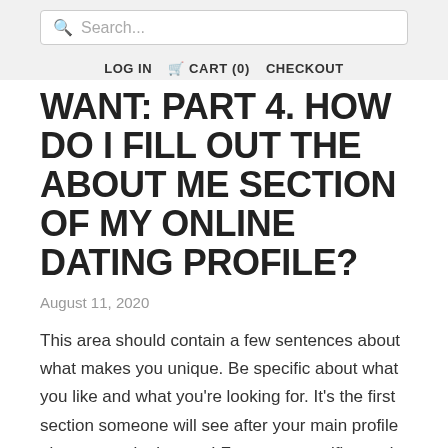Search...  LOG IN  🛒 CART (0)  CHECKOUT
WANT: PART 4. HOW DO I FILL OUT THE ABOUT ME SECTION OF MY ONLINE DATING PROFILE?
August 11, 2020
This area should contain a few sentences about what makes you unique. Be specific about what you like and what you're looking for. It's the first section someone will see after your main profile picture – make it count! Focus on specifics and you'll be able to attract someone who finds you